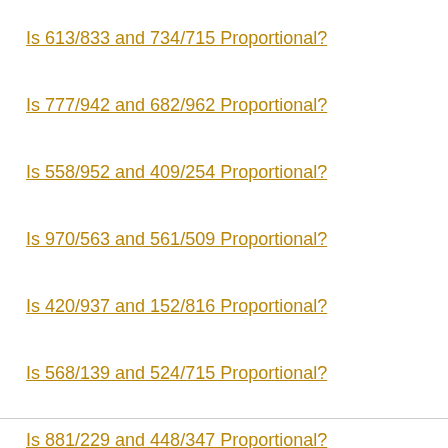Is 613/833 and 734/715 Proportional?
Is 777/942 and 682/962 Proportional?
Is 558/952 and 409/254 Proportional?
Is 970/563 and 561/509 Proportional?
Is 420/937 and 152/816 Proportional?
Is 568/139 and 524/715 Proportional?
Is 881/229 and 448/347 Proportional?
Is 953/729 and 713/454 Proportional?